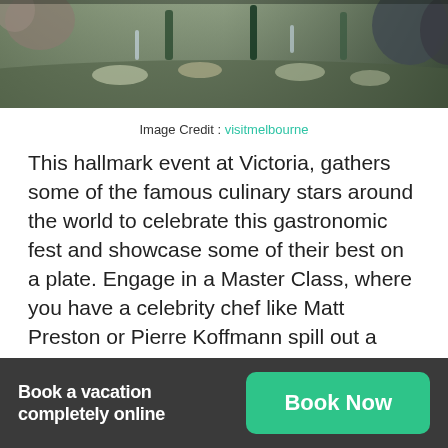[Figure (photo): A photo of a dinner table event with people dining, bottles and plates visible, taken from above at an angle. Shows a crowded festive dining scene.]
Image Credit : visitmelbourne
This hallmark event at Victoria, gathers some of the famous culinary stars around the world to celebrate this gastronomic fest and showcase some of their best on a plate. Engage in a Master Class, where you have a celebrity chef like Matt Preston or Pierre Koffmann spill out a recipe to one of their signature dishes.
Book a vacation completely online
Book Now